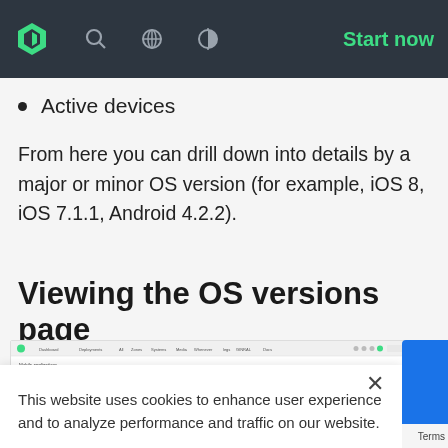Start now
Active devices
From here you can drill down into details by a major or minor OS version (for example, iOS 8, iOS 7.1.1, Android 4.2.2).
Viewing the OS versions page
[Figure (screenshot): Screenshot of a web interface showing OS versions page with navigation bar, green highlighted selection element, and vendor filter showing 'All vendors (13)']
This website uses cookies to enhance user experience and to analyze performance and traffic on our website.